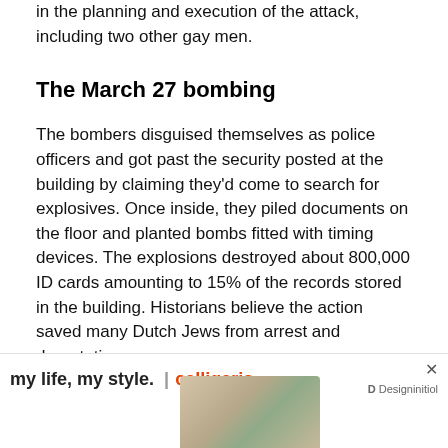in the planning and execution of the attack, including two other gay men.
The March 27 bombing
The bombers disguised themselves as police officers and got past the security posted at the building by claiming they'd come to search for explosives. Once inside, they piled documents on the floor and planted bombs fitted with timing devices. The explosions destroyed about 800,000 ID cards amounting to 15% of the records stored in the building. Historians believe the action saved many Dutch Jews from arrest and deportation.
The Nazis offered a large reward for information about the bo[mbers. Eventually the group was betr]ayed... rest by
[Figure (other): Advertisement overlay: 'my life, my style. | calligaris' with Designinitiol logo and close button X, partially obscuring the bottom text]